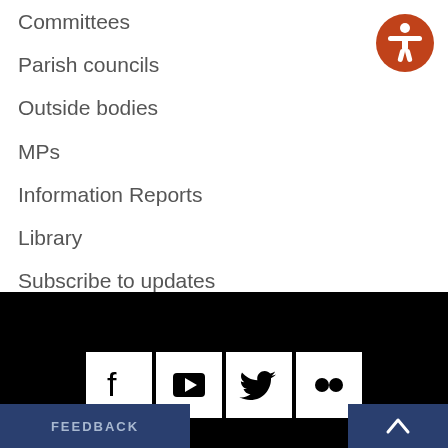Committees
Parish councils
Outside bodies
MPs
Information Reports
Library
Subscribe to updates
[Figure (illustration): Orange accessibility icon button (person with arms outstretched inside orange circle)]
[Figure (infographic): Footer with social media icons: Facebook, YouTube, Twitter, Flickr on black background, with FEEDBACK button and scroll-to-top arrow button]
FEEDBACK